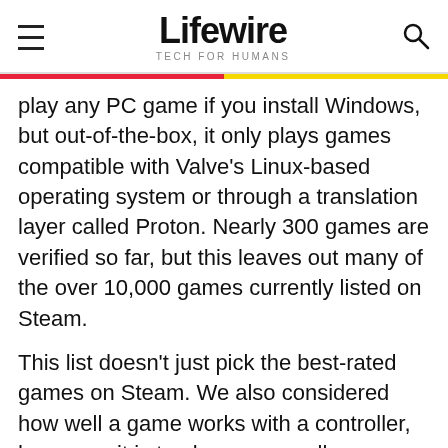Lifewire TECH FOR HUMANS
play any PC game if you install Windows, but out-of-the-box, it only plays games compatible with Valve's Linux-based operating system or through a translation layer called Proton. Nearly 300 games are verified so far, but this leaves out many of the over 10,000 games currently listed on Steam.
This list doesn't just pick the best-rated games on Steam. We also considered how well a game works with a controller, how easy it is to play on a small screen, and how quickly the game might drain the battery. Here are the best